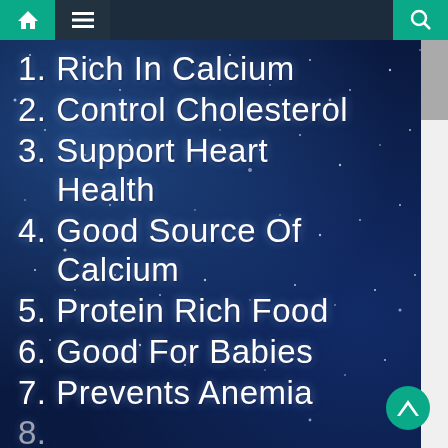Navigation bar with home, menu, and search icons
1. Rich In Calcium
2. Control Cholesterol
3. Support Heart Health
4. Good Source Of Calcium
5. Protein Rich Food
6. Good For Babies
7. Prevents Anemia
8. [partially visible]